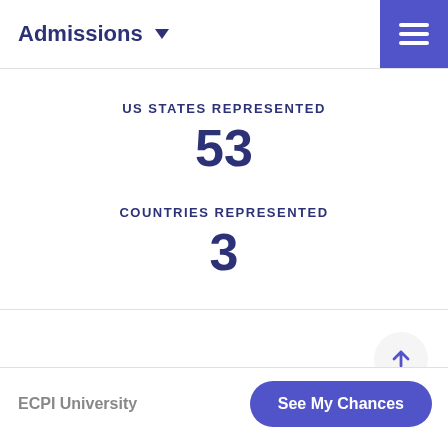Admissions
US STATES REPRESENTED
53
COUNTRIES REPRESENTED
3
ECPI University
See My Chances